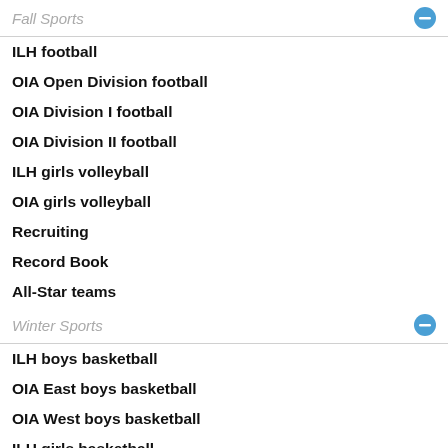Fall Sports
ILH football
OIA Open Division football
OIA Division I football
OIA Division II football
ILH girls volleyball
OIA girls volleyball
Recruiting
Record Book
All-Star teams
Winter Sports
ILH boys basketball
OIA East boys basketball
OIA West boys basketball
ILH girls basketball